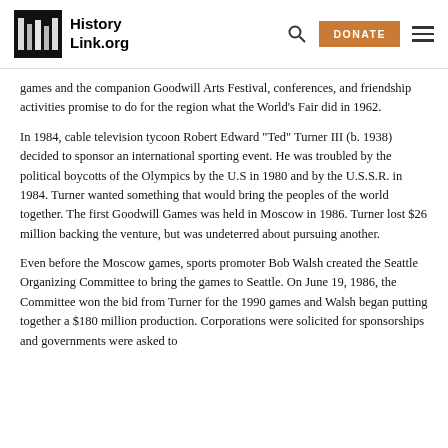HistoryLink.org
games and the companion Goodwill Arts Festival, conferences, and friendship activities promise to do for the region what the World's Fair did in 1962.
In 1984, cable television tycoon Robert Edward "Ted" Turner III (b. 1938) decided to sponsor an international sporting event. He was troubled by the political boycotts of the Olympics by the U.S in 1980 and by the U.S.S.R. in 1984. Turner wanted something that would bring the peoples of the world together. The first Goodwill Games was held in Moscow in 1986. Turner lost $26 million backing the venture, but was undeterred about pursuing another.
Even before the Moscow games, sports promoter Bob Walsh created the Seattle Organizing Committee to bring the games to Seattle. On June 19, 1986, the Committee won the bid from Turner for the 1990 games and Walsh began putting together a $180 million production. Corporations were solicited for sponsorships and governments were asked to